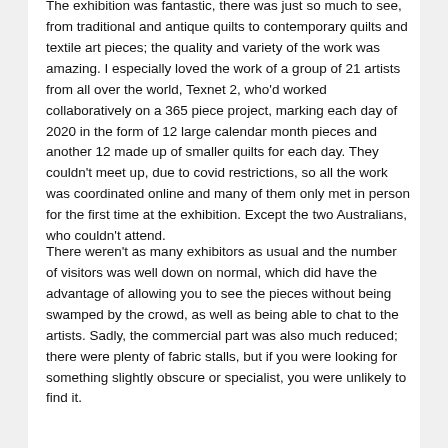The exhibition was fantastic, there was just so much to see, from traditional and antique quilts to contemporary quilts and textile art pieces; the quality and variety of the work was amazing. I especially loved the work of a group of 21 artists from all over the world, Texnet 2, who'd worked collaboratively on a 365 piece project, marking each day of 2020 in the form of 12 large calendar month pieces and another 12 made up of smaller quilts for each day. They couldn't meet up, due to covid restrictions, so all the work was coordinated online and many of them only met in person for the first time at the exhibition. Except the two Australians, who couldn't attend.
There weren't as many exhibitors as usual and the number of visitors was well down on normal, which did have the advantage of allowing you to see the pieces without being swamped by the crowd, as well as being able to chat to the artists. Sadly, the commercial part was also much reduced; there were plenty of fabric stalls, but if you were looking for something slightly obscure or specialist, you were unlikely to find it.